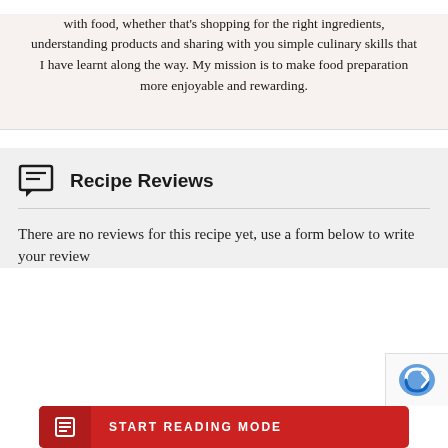with food, whether that's shopping for the right ingredients, understanding products and sharing with you simple culinary skills that I have learnt along the way. My mission is to make food preparation more enjoyable and rewarding.
Recipe Reviews
There are no reviews for this recipe yet, use a form below to write your review
[Figure (other): reCAPTCHA logo partially visible in bottom-right corner]
START READING MODE